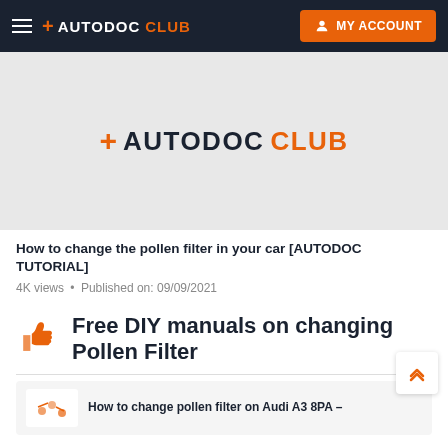+ AUTODOC CLUB  MY ACCOUNT
[Figure (logo): Autodoc Club logo on grey background video thumbnail placeholder]
How to change the pollen filter in your car [AUTODOC TUTORIAL]
4K views • Published on: 09/09/2021
Free DIY manuals on changing Pollen Filter
How to change pollen filter on Audi A3 8PA –